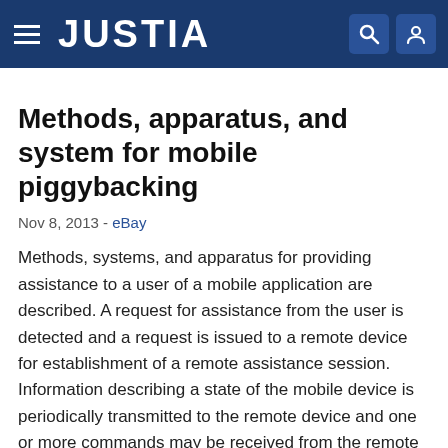JUSTIA
Methods, apparatus, and system for mobile piggybacking
Nov 8, 2013 - eBay
Methods, systems, and apparatus for providing assistance to a user of a mobile application are described. A request for assistance from the user is detected and a request is issued to a remote device for establishment of a remote assistance session. Information describing a state of the mobile device is periodically transmitted to the remote device and one or more commands may be received from the remote device. The commands may be executed on the mobile device.
Latest eBay Patents: